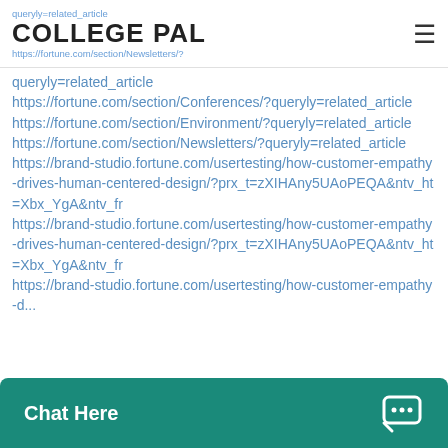queryly=related_article | COLLEGE PAL | https://fortune.com/section/Newsletters/?
queryly=related_article
https://fortune.com/section/Conferences/?queryly=related_article
https://fortune.com/section/Environment/?queryly=related_article
https://fortune.com/section/Newsletters/?queryly=related_article
https://brand-studio.fortune.com/usertesting/how-customer-empathy-drives-human-centered-design/?prx_t=zXIHAny5UAoPEQA&ntv_ht=Xbx_YgA&ntv_fr
https://brand-studio.fortune.com/usertesting/how-customer-empathy-drives-human-centered-design/?prx_t=zXIHAny5UAoPEQA&ntv_ht=Xbx_YgA&ntv_fr
https://brand-studio.fortune.com/usertesting/how-customer-empathy-d...
[Figure (screenshot): Chat Here widget button in teal/green at bottom of page]